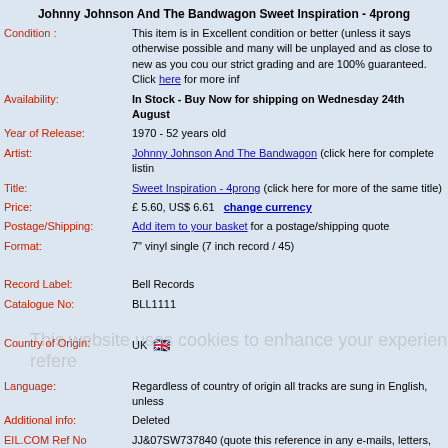Johnny Johnson And The Bandwagon Sweet Inspiration - 4prong
| Field | Value |
| --- | --- |
| Condition : | This item is in Excellent condition or better (unless it says otherwise possible and many will be unplayed and as close to new as you could our strict grading and are 100% guaranteed. Click here for more info |
| Availability: | In Stock - Buy Now for shipping on Wednesday 24th August |
| Year of Release: | 1970 - 52 years old |
| Artist: | Johnny Johnson And The Bandwagon (click here for complete listing) |
| Title: | Sweet Inspiration - 4prong (click here for more of the same title) |
| Price: | £ 5.60, US$ 6.61   change currency |
| Postage/Shipping: | Add item to your basket for a postage/shipping quote |
| Format: | 7" vinyl single (7 inch record / 45) |
| Record Label: | Bell Records |
| Catalogue No: | BLL1111 |
| Country of Origin: | UK 🇬🇧 |
| Language: | Regardless of country of origin all tracks are sung in English, unless |
| Additional info: | Deleted |
| EIL.COM Ref No | JJ&07SW737840 (quote this reference in any e-mails, letters, faxes |
| Genres: | 60s Pop, Northern Soul, POP, Soul and r&b |
| Complete Stock List: | Johnny Johnson And The Bandwagon |
| email: | sales@eil.com to contact our sales team. |
| Alternative Names: | ,JOHNNY JOHNSON,THE BANDWAGON |
| To order by phone: | Call 011-44-01474 815010 quoting EIL.COM reference number JJ& |
Something you may also be interested in
Art Vinyl Play & Display Black Album/12" Frame – Pack Of 3
Art Vinyl Play & Display White Album/12" Frame – Pack